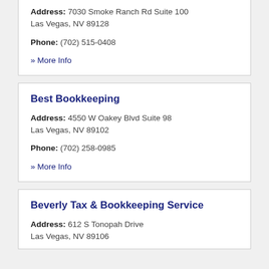Address: 7030 Smoke Ranch Rd Suite 100 Las Vegas, NV 89128
Phone: (702) 515-0408
» More Info
Best Bookkeeping
Address: 4550 W Oakey Blvd Suite 98 Las Vegas, NV 89102
Phone: (702) 258-0985
» More Info
Beverly Tax & Bookkeeping Service
Address: 612 S Tonopah Drive Las Vegas, NV 89106